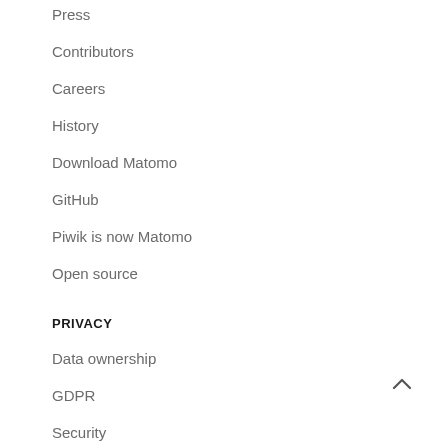Press
Contributors
Careers
History
Download Matomo
GitHub
Piwik is now Matomo
Open source
PRIVACY
Data ownership
GDPR
Security
Matomo Cloud privacy policy
Website privacy policy